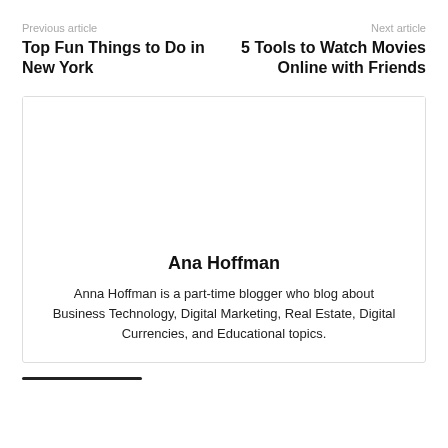Previous article
Next article
Top Fun Things to Do in New York
5 Tools to Watch Movies Online with Friends
Ana Hoffman
Anna Hoffman is a part-time blogger who blog about Business Technology, Digital Marketing, Real Estate, Digital Currencies, and Educational topics.